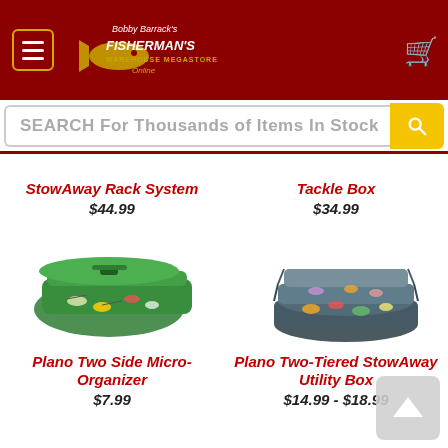[Figure (logo): Bobby Barrack's Fisherman's Warehouse Megastore Online logo on dark red header with menu button and cart icon]
SEARCH For Thousands of Items In Stock
StowAway Rack System
$44.99
Tackle Box
$34.99
[Figure (photo): Plano Two Side Micro-Organizer - green plastic tackle organizer box with fishing lures inside]
Plano Two Side Micro-Organizer
$7.99
[Figure (photo): Plano Two-Tiered StowAway Utility Box - dark gray/black multilevel tackle box with fishing lures]
Plano Two-Tiered StowAway Utility Box
$14.99 - $18.99